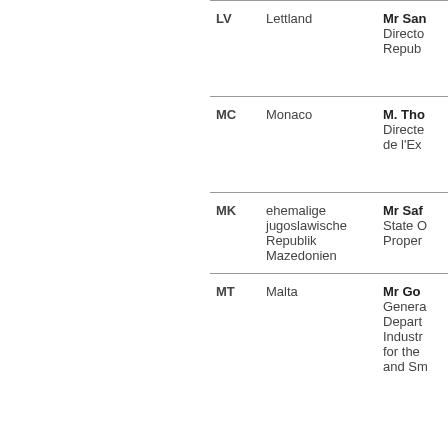| Code | Country | Representative |
| --- | --- | --- |
| LV | Lettland | Mr San
Directo
Repub |
| MC | Monaco | M. Tho
Directe
de l'Ex |
| MK | ehemalige jugoslawische Republik Mazedonien | Mr Saf
State O
Proper |
| MT | Malta | Mr Go
Genera
Deipart
Indust
for the
and Sm |